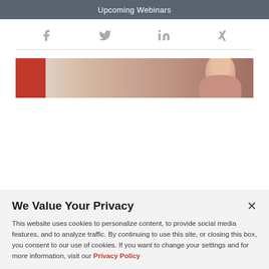Upcoming Webinars
[Figure (other): Social media share icons: Facebook, Twitter, LinkedIn, Xing]
[Figure (photo): Hero banner image with a red square accent and a blurred photo of a person with reddish-blonde hair]
We Value Your Privacy
This website uses cookies to personalize content, to provide social media features, and to analyze traffic. By continuing to use this site, or closing this box, you consent to our use of cookies. If you want to change your settings and for more information, visit our Privacy Policy